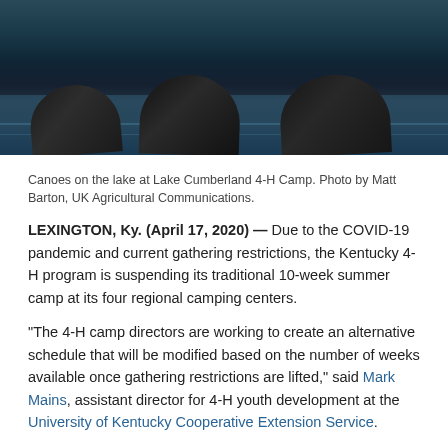[Figure (photo): Canoes floating on a dark lake at Lake Cumberland 4-H Camp, viewed from above/side showing dark hulls against dark teal water with reflections. A blue bar is visible at the very top.]
Canoes on the lake at Lake Cumberland 4-H Camp. Photo by Matt Barton, UK Agricultural Communications.
LEXINGTON, Ky. (April 17, 2020) — Due to the COVID-19 pandemic and current gathering restrictions, the Kentucky 4-H program is suspending its traditional 10-week summer camp at its four regional camping centers.
“The 4-H camp directors are working to create an alternative schedule that will be modified based on the number of weeks available once gathering restrictions are lifted,” said Mark Mains, assistant director for 4-H youth development at the University of Kentucky Cooperative Extension Service.